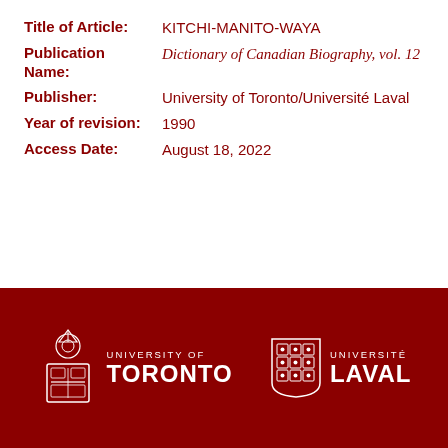| Label | Value |
| --- | --- |
| Title of Article: | KITCHI-MANITO-WAYA |
| Publication Name: | Dictionary of Canadian Biography, vol. 12 |
| Publisher: | University of Toronto/Université Laval |
| Year of revision: | 1990 |
| Access Date: | August 18, 2022 |
[Figure (logo): University of Toronto crest logo with text UNIVERSITY OF TORONTO in white on dark red background]
[Figure (logo): Université Laval shield logo with text UNIVERSITÉ LAVAL in white on dark red background]